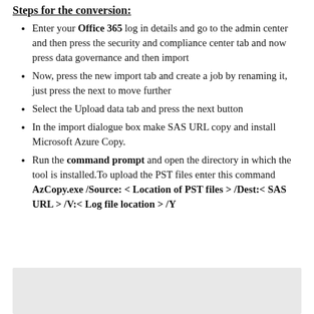Steps for the conversion:
Enter your Office 365 log in details and go to the admin center and then press the security and compliance center tab and now press data governance and then import
Now, press the new import tab and create a job by renaming it, just press the next to move further
Select the Upload data tab and press the next button
In the import dialogue box make SAS URL copy and install Microsoft Azure Copy.
Run the command prompt and open the directory in which the tool is installed.To upload the PST files enter this command AzCopy.exe /Source: < Location of PST files > /Dest:< SAS URL > /V:< Log file location > /Y
[Figure (other): Gray shaded box at the bottom of the page]